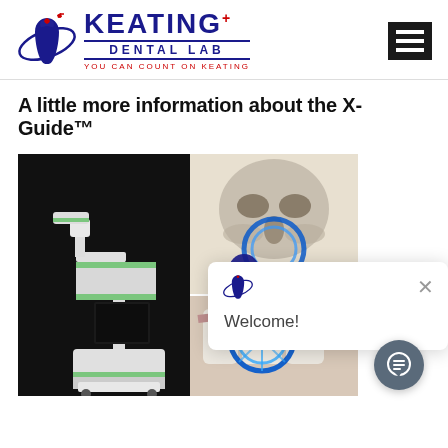[Figure (logo): Keating Dental Lab logo with blue tooth icon, KEATING text in dark blue, DENTAL LAB subtitle, tagline YOU CAN COUNT ON KEATING in red]
[Figure (other): Hamburger menu icon — three white horizontal bars on black background]
A little more information about the X-Guide™
[Figure (photo): Composite image showing X-Guide navigation system device (robotic arm with tablet screen on wheeled base, in black with green accents), a skull CT scan with blue ring overlay, and a close-up of a dental implant guide ring over teeth]
[Figure (screenshot): Chat popup overlay with Keating Dental Lab logo icon, X close button, and 'Welcome!' greeting text, plus a dark gray circular chat button]